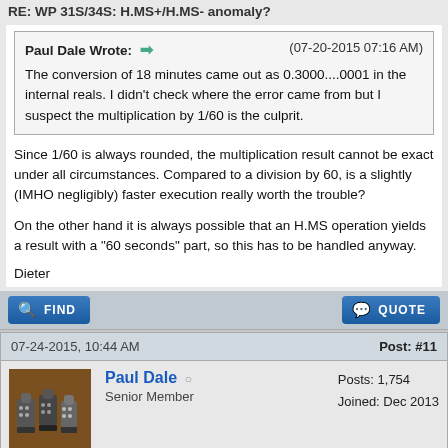RE: WP 31S/34S: H.MS+/H.MS- anomaly?
Paul Dale Wrote: (07-20-2015 07:16 AM)
The conversion of 18 minutes came out as 0.3000....0001 in the internal reals. I didn't check where the error came from but I suspect the multiplication by 1/60 is the culprit.
Since 1/60 is always rounded, the multiplication result cannot be exact under all circumstances. Compared to a division by 60, is a slightly (IMHO negligibly) faster execution really worth the trouble?
On the other hand it is always possible that an H.MS operation yields a result with a "60 seconds" part, so this has to be handled anyway.
Dieter
07-24-2015, 10:44 AM
Post: #11
Paul Dale
Senior Member
Posts: 1,754
Joined: Dec 2013